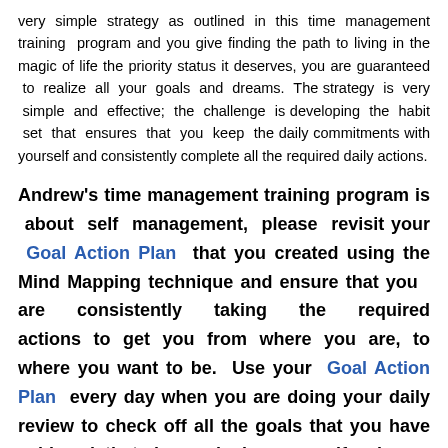very simple strategy as outlined in this time management training program and you give finding the path to living in the magic of life the priority status it deserves, you are guaranteed to realize all your goals and dreams. The strategy is very simple and effective; the challenge is developing the habit set that ensures that you keep the daily commitments with yourself and consistently complete all the required daily actions.
Andrew's time management training program is about self management, please revisit your Goal Action Plan that you created using the Mind Mapping technique and ensure that you are consistently taking the required actions to get you from where you are, to where you want to be. Use your Goal Action Plan every day when you are doing your daily review to check off all the goals that you have achieved that day and give yourself a huge